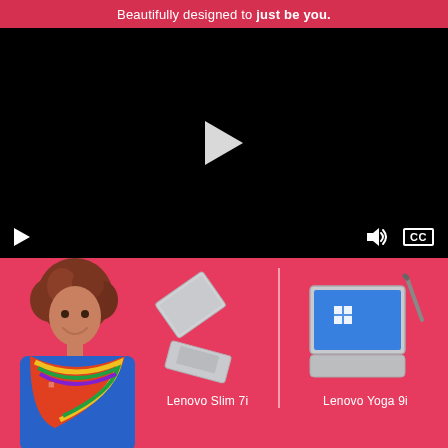Beautifully designed to just be you.
[Figure (screenshot): Video player with black background, center play button, and bottom controls bar showing play button, speaker icon, and CC badge]
[Figure (photo): Pink background marketing section showing a woman with curly hair and colorful outfit on the left, two Lenovo laptops (Slim 7i and Yoga 9i) displayed side by side with a vertical divider, and product labels below each laptop]